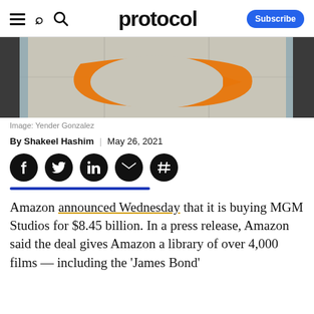protocol | Subscribe
[Figure (photo): Amazon logo (orange arrow/smile) on a building wall, partial view cropped at top]
Image: Yender Gonzalez
By Shakeel Hashim | May 26, 2021
[Figure (infographic): Social share icons: Facebook, Twitter, LinkedIn, Email, Hashtag — black circles with white icons]
Amazon announced Wednesday that it is buying MGM Studios for $8.45 billion. In a press release, Amazon said the deal gives Amazon a library of over 4,000 films — including the 'James Bond' franchise and more on TV shows which will